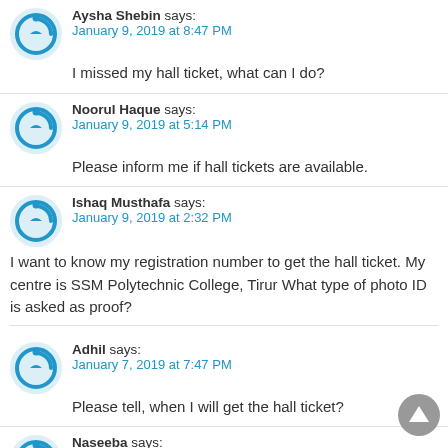Aysha Shebin says: January 9, 2019 at 8:47 PM
I missed my hall ticket, what can I do?
Noorul Haque says: January 9, 2019 at 5:14 PM
Please inform me if hall tickets are available.
Ishaq Musthafa says: January 9, 2019 at 2:32 PM
I want to know my registration number to get the hall ticket. My centre is SSM Polytechnic College, Tirur What type of photo ID is asked as proof?
Adhil says: January 7, 2019 at 7:47 PM
Please tell, when I will get the hall ticket?
Naseeba says: January 6, 2019 at 7:54 PM
Kindly reply, when will the hall ticket be available?
Mouser Afsheen Shaik.......! says: November 18, 2019 at 9:18 PM
How to practice and what would we have we have to practice please submit it as soon as